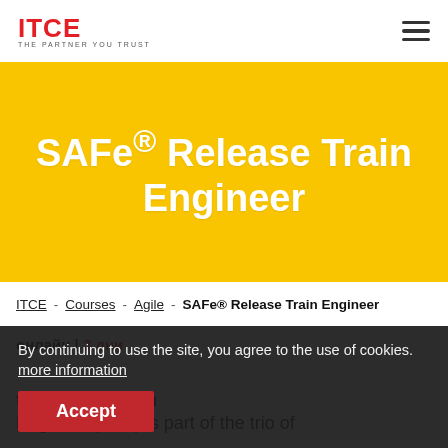ITCE - THE PARTNER YOU TRUST [logo] [hamburger menu]
SAFe® Release Train Engineer
ITCE - Courses - Agile - SAFe® Release Train Engineer
By continuing to use the site, you agree to the use of cookies. more information
Accept
3 дни
the Release Train Engineer (RTE) is part of the trio of